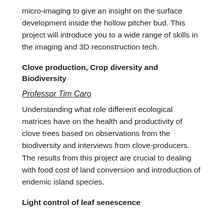micro-imaging to give an insight on the surface development inside the hollow pitcher bud. This project will introduce you to a wide range of skills in the imaging and 3D reconstruction tech.
Clove production, Crop diversity and Biodiversity
Professor Tim Caro
Understanding what role different ecological matrices have on the health and productivity of clove trees based on observations from the biodiversity and interviews from clove-producers. The results from this project are crucial to dealing with food cost of land conversion and introduction of endemic island species.
Light control of leaf senescence